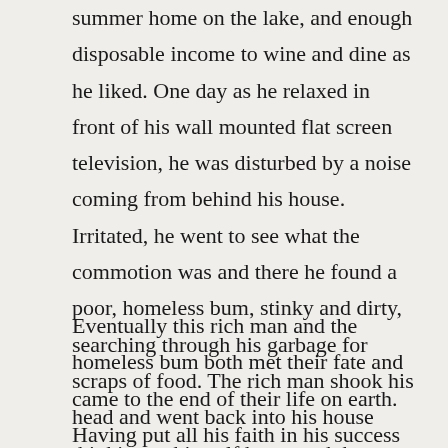summer home on the lake, and enough disposable income to wine and dine as he liked. One day as he relaxed in front of his wall mounted flat screen television, he was disturbed by a noise coming from behind his house. Irritated, he went to see what the commotion was and there he found a poor, homeless bum, stinky and dirty, searching through his garbage for scraps of food. The rich man shook his head and went back into his house thinking to himself how much better he was than this bum. Presuming that he had it all figured out.
Eventually this rich man and the homeless bum both met their fate and came to the end of their life on earth. Having put all his faith in his success and his wealth, this man had never felt the need to acknowledge that he